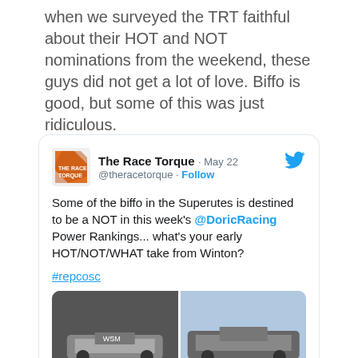When we surveyed the TRT faithful about their HOT and NOT nominations from the weekend, these guys did not get a lot of love. Biffo is good, but some of this was just ridiculous.
[Figure (screenshot): Embedded tweet from @theracetorque dated May 22. Text: 'Some of the biffo in the Superutes is destined to be a NOT in this week's @DoricRacing Power Rankings... what's your early HOT/NOT/WHAT take from Winton? #repcosc'. Includes 4 racing car photos in a 2x2 grid.]